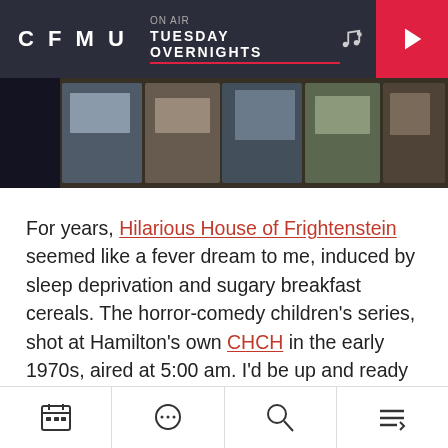CFMU ON AIR TUESDAY OVERNIGHTS
[Figure (photo): Photo collage banner showing radio studio scenes]
For years, Hilarious House of Frightenstein seemed like a fever dream to me, induced by sleep deprivation and sugary breakfast cereals. The horror-comedy children’s series, shot at Hamilton’s own CHCH in the early 1970s, aired at 5:00 am. I’d be up and ready to watch all my favourite characters – the Count, Igor, Dr Pet Vet, Griselda, and more, most of them portrayed by actor Billy Van. It wasn’t until my wife and I dressed as the Count and Igor for Hallowe’en, and random people shouted gleefully at
Navigation: Calendar, Chat, Search, Menu